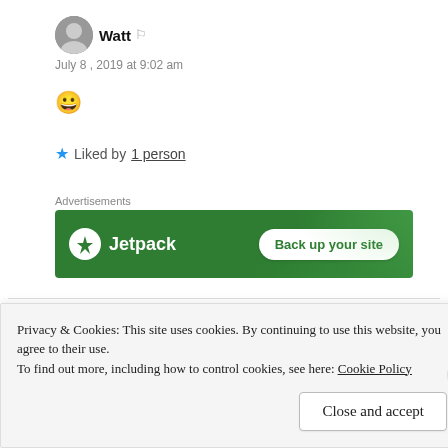Watt
July 8, 2019 at 9:02 am
😀
Liked by 1 person
Advertisements
[Figure (other): Jetpack advertisement banner with logo and 'Back up your site' button on green background]
short-prose-fiction
Privacy & Cookies: This site uses cookies. By continuing to use this website, you agree to their use.
To find out more, including how to control cookies, see here: Cookie Policy